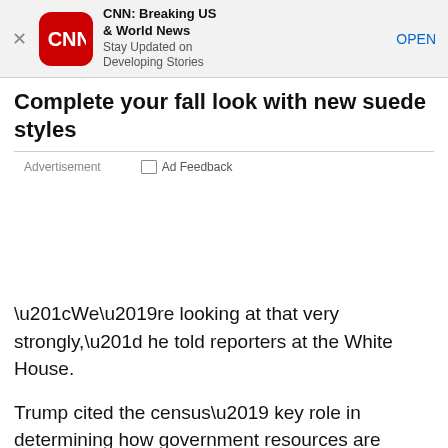[Figure (screenshot): CNN app install banner with CNN logo, title 'CNN: Breaking US & World News', subtitle 'Stay Updated on Developing Stories', and OPEN button]
Complete your fall look with new suede styles
Advertisement   □ Ad Feedback
“We’re looking at that very strongly,” he told reporters at the White House.
Trump cited the census’ key role in determining how government resources are spent.
“I think it’s very important to find out if somebody is